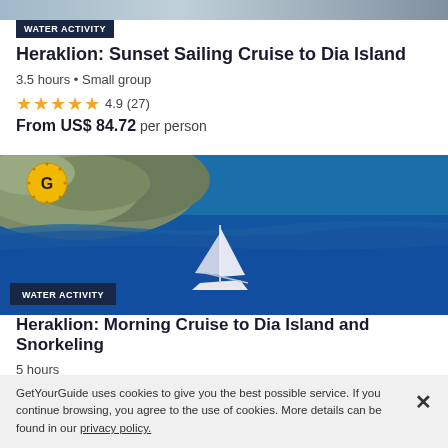[Figure (photo): Top portion of a sunset sailing cruise listing image (cropped at top)]
WATER ACTIVITY
Heraklion: Sunset Sailing Cruise to Dia Island
3.5 hours • Small group
★★★★★ 4.9 (27)
From US$ 84.72 per person
[Figure (photo): Aerial photo of a sailboat on vivid blue water near rocky coastline of Dia Island, Crete. GetYourGuide logo badge in top-left corner. WATER ACTIVITY badge in bottom-left.]
WATER ACTIVITY
Heraklion: Morning Cruise to Dia Island and Snorkeling
5 hours
★★★★★ 4.9 (14)
From US$ 124.59 per person
GetYourGuide uses cookies to give you the best possible service. If you continue browsing, you agree to the use of cookies. More details can be found in our privacy policy.